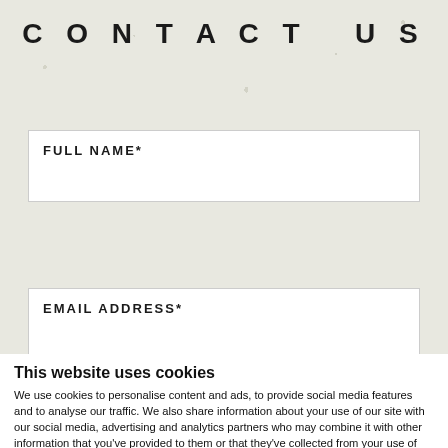CONTACT US
FULL NAME*
EMAIL ADDRESS*
SUBJECT*
This website uses cookies
We use cookies to personalise content and ads, to provide social media features and to analyse our traffic. We also share information about your use of our site with our social media, advertising and analytics partners who may combine it with other information that you've provided to them or that they've collected from your use of their services.
OK
Necessary  Preferences  Statistics  Marketing  Show details